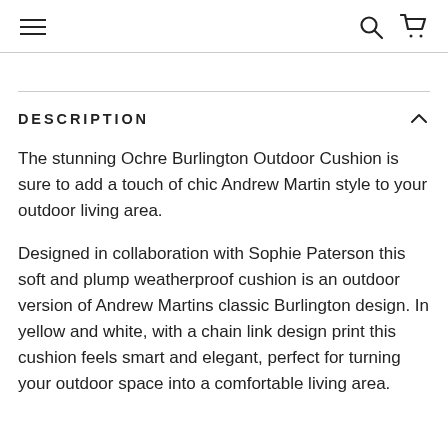[hamburger menu] [search] [cart]
DESCRIPTION
The stunning Ochre Burlington Outdoor Cushion is sure to add a touch of chic Andrew Martin style to your outdoor living area.
Designed in collaboration with Sophie Paterson this soft and plump weatherproof cushion is an outdoor version of Andrew Martins classic Burlington design. In yellow and white, with a chain link design print this cushion feels smart and elegant, perfect for turning your outdoor space into a comfortable living area.